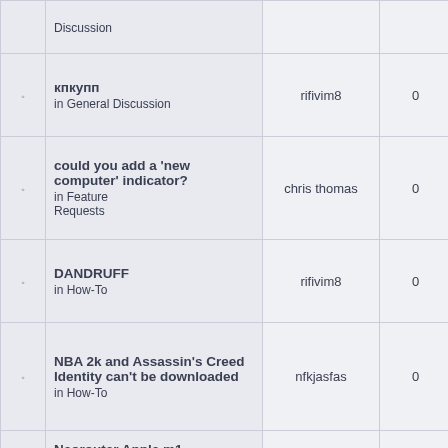|  | Topic | Author | Replies | Views | Last Post |
| --- | --- | --- | --- | --- | --- |
|  | Discussion (partial) |  |  |  |  |
| ◦ | кпкупп
in General Discussion | rifivim8 | 0 | 516 | Wed Ja
3:
rifiv |
| ◦ | could you add a 'new computer' indicator?
in Feature Requests | chris thomas | 0 | 1061 | Thu Ja
3:
chris t |
| ◦ | DANDRUFF
in How-To | rifivim8 | 0 | 563 | Sat De
1:
rifiv |
| ◦ | NBA 2k and Assassin's Creed Identity can't be downloaded
in How-To | nfkjasfas | 0 | 564 | Thu De
1:4
nfkja |
| ◦ | Neorouter Apple m1
in Mac OS X / Linux / FreeBSD / Android | mahagen | 0 | 1174 | Tue De
3:
mah |